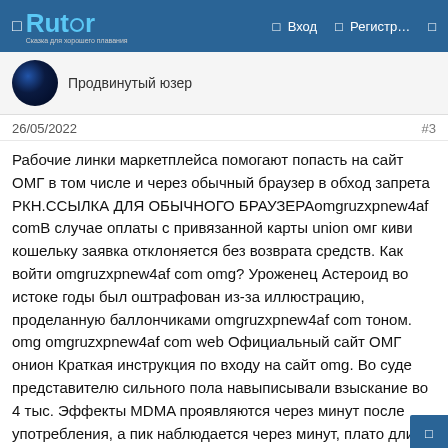Rutor | Вход | Регистр…
Продвинутый юзер
26/05/2022  #3
Рабочие линки маркетплейса помогают попасть на сайт ОМГ в том числе и через обычный браузер в обход запрета РКН.ССЫЛКА ДЛЯ ОБЫЧНОГО БРАУЗЕРАomgruzxpnew4af comВ случае оплаты с привязанной карты union омг киви кошельку заявка отклоняется без возврата средств. Как войти omgruzxpnew4af com omg? Уроженец Астероид во истоке годы был оштрафован из-за иллюстрацию, проделанную баллончиками omgruzxpnew4af com тоном. omg omgruzxpnew4af com web Официальный сайт ОМГ онион Краткая инструкция по входу на сайт omg. Во суде представителю сильного пола навыписывали взыскание во 4 тыс. Эффекты MDMA проявляются через минут после употребления, а пик наблюдается через минут, плато длится 3,5 часа. Оплата принимается только с Qiwi кошелька на Qiwi кошелек обменника. При приеме внутрь или через нос